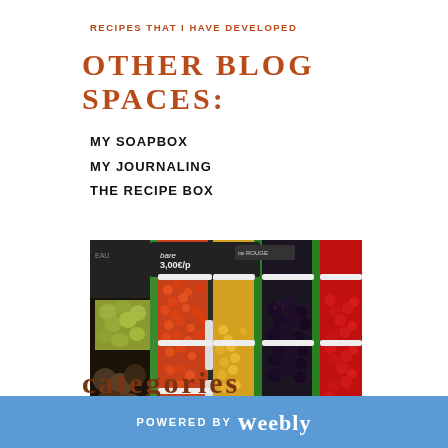RECIPES THAT I HAVE DEVELOPED
OTHER BLOG SPACES:
MY SOAPBOX
MY JOURNALING
THE RECIPE BOX
[Figure (photo): Market display of various berries and fruits in green plastic baskets, including grapes, red currants, blackberries, cherries, and other colorful berries with price tags]
CATEGORIES
POWERED BY weebly